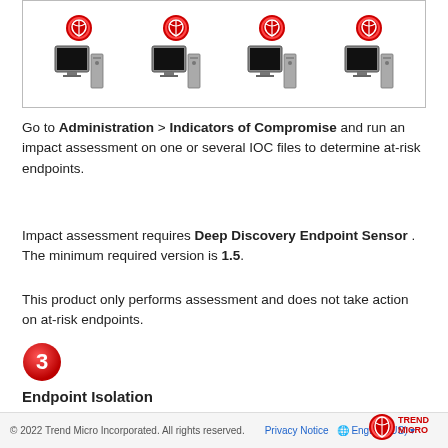[Figure (illustration): Four computer workstation units each with a red Trend Micro circular logo above them, arranged in a row inside a bordered box, representing Deep Discovery Endpoint Sensor agents.]
Go to Administration > Indicators of Compromise and run an impact assessment on one or several IOC files to determine at-risk endpoints.
Impact assessment requires Deep Discovery Endpoint Sensor . The minimum required version is 1.5.
This product only performs assessment and does not take action on at-risk endpoints.
[Figure (illustration): Red circle with white number 3, indicating step 3.]
Endpoint Isolation
Isolate an affected endpoint to perform a detailed investigation. To do this, go to the Indicators of Compromise column and click the number representing the number of at-risk endpoints.
© 2022 Trend Micro Incorporated. All rights reserved.  Privacy Notice  English (US)